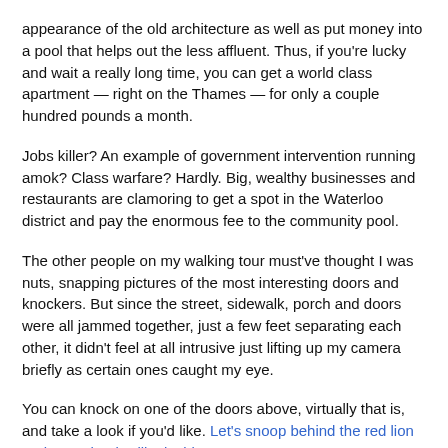appearance of the old architecture as well as put money into a pool that helps out the less affluent. Thus, if you're lucky and wait a really long time, you can get a world class apartment — right on the Thames — for only a couple hundred pounds a month.
Jobs killer? An example of government intervention running amok? Class warfare? Hardly. Big, wealthy businesses and restaurants are clamoring to get a spot in the Waterloo district and pay the enormous fee to the community pool.
The other people on my walking tour must've thought I was nuts, snapping pictures of the most interesting doors and knockers. But since the street, sidewalk, porch and doors were all jammed together, just a few feet separating each other, it didn't feel at all intrusive just lifting up my camera briefly as certain ones caught my eye.
You can knock on one of the doors above, virtually that is, and take a look if you'd like. Let's snoop behind the red lion and see what it's like inside.